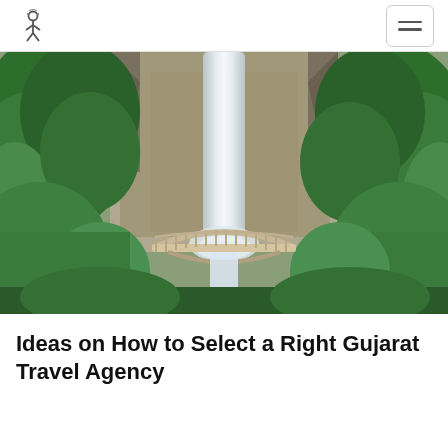Logo and navigation menu
[Figure (photo): A tall waterfall (Multnomah Falls) cascading down a rocky cliff face surrounded by lush green trees and vegetation, with a stone bridge visible in the middle section of the waterfall.]
Ideas on How to Select a Right Gujarat Travel Agency